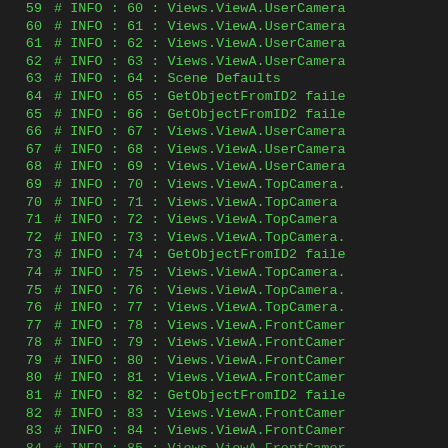59 # INFO : 60 : Views.ViewA.UserCamera
60 # INFO : 61 : Views.ViewA.UserCamera
61 # INFO : 62 : Views.ViewA.UserCamera
62 # INFO : 63 : Views.ViewA.UserCamera
63 # INFO : 64 : Scene Defaults
64 # INFO : 65 : GetObjectFromID2 faile
65 # INFO : 66 : GetObjectFromID2 faile
66 # INFO : 67 : Views.ViewA.UserCamera
67 # INFO : 68 : Views.ViewA.UserCamera
68 # INFO : 69 : Views.ViewA.UserCamera
69 # INFO : 70 : Views.ViewA.TopCamera.
70 # INFO : 71 : Views.ViewA.TopCamera
71 # INFO : 72 : Views.ViewA.TopCamera
72 # INFO : 73 : Views.ViewA.TopCamera.
73 # INFO : 74 : GetObjectFromID2 faile
74 # INFO : 75 : Views.ViewA.TopCamera.
75 # INFO : 76 : Views.ViewA.TopCamera.
76 # INFO : 77 : Views.ViewA.TopCamera.
77 # INFO : 78 : Views.ViewA.FrontCamer
78 # INFO : 79 : Views.ViewA.FrontCamer
79 # INFO : 80 : Views.ViewA.FrontCamer
80 # INFO : 81 : Views.ViewA.FrontCamer
81 # INFO : 82 : GetObjectFromID2 faile
82 # INFO : 83 : Views.ViewA.FrontCamer
83 # INFO : 84 : Views.ViewA.FrontCamer
84 # INFO : 85 : Views.ViewA.FrontCamer